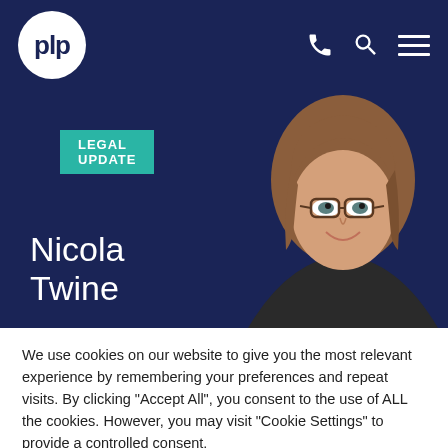plp
[Figure (logo): PLP law firm logo - white circle with 'plp' text in dark navy, on dark navy navigation bar with phone, search, and menu icons]
[Figure (photo): Professional headshot of Nicola Twine, a woman with brown shoulder-length hair and glasses, smiling, against dark navy background]
LEGAL UPDATE
Nicola Twine
We use cookies on our website to give you the most relevant experience by remembering your preferences and repeat visits. By clicking "Accept All", you consent to the use of ALL the cookies. However, you may visit "Cookie Settings" to provide a controlled consent.
Cookie Settings | Accept All